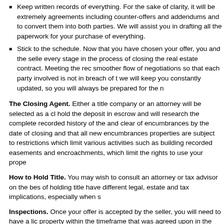Keep written records of everything. For the sake of clarity, it will be extremely agreements including counter-offers and addendums and to convert them into both parties. We will assist you in drafting all the paperwork for your purchase of everything.
Stick to the schedule. Now that you have chosen your offer, you and the selle every stage in the process of closing the real estate contract. Meeting the rec smoother flow of negotiations so that each party involved is not in breach of t we will keep you constantly updated, so you will always be prepared for the n
The Closing Agent. Either a title company or an attorney will be selected as a cl hold the deposit in escrow and will research the complete recorded history of the and clear of encumbrances by the date of closing and that all new encumbrances properties are subject to restrictions which limit various activities such as building recorded easements and encroachments, which limit the rights to use your prope
How to Hold Title. You may wish to consult an attorney or tax advisor on the bes of holding title have different legal, estate and tax implications, especially when s
Inspections. Once your offer is accepted by the seller, you will need to have a lic property within the timeframe that was agreed upon in the effective contract to pu different inspectors inspect the property, if you wish to obtain professional opinion specific area (eg. roof, HVAC, structure). If you are purchasing a commercial pro